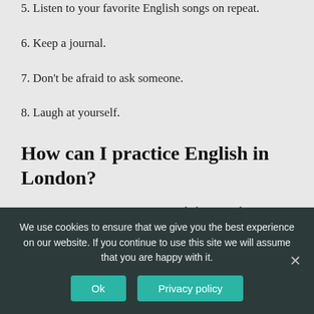5. Listen to your favorite English songs on repeat.
6. Keep a journal.
7. Don't be afraid to ask someone.
8. Laugh at yourself.
How can I practice English in London?
TOP 10 ways to practise your English in London
We use cookies to ensure that we give you the best experience on our website. If you continue to use this site we will assume that you are happy with it.